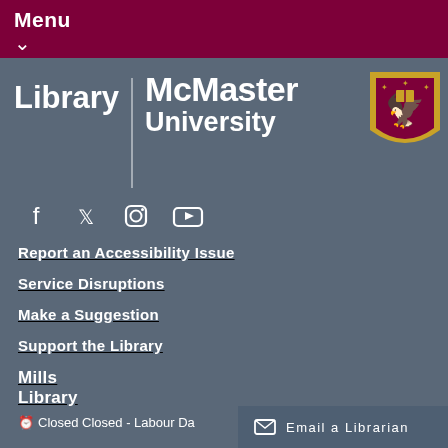Menu ∨
Library | McMaster University
[Figure (logo): McMaster University crest/shield logo in gold and maroon with eagle]
[Figure (infographic): Social media icons: Facebook, Twitter, Instagram, YouTube]
Report an Accessibility Issue
Service Disruptions
Make a Suggestion
Support the Library
Mills Library
Closed Closed - Labour Da
Email a Librarian